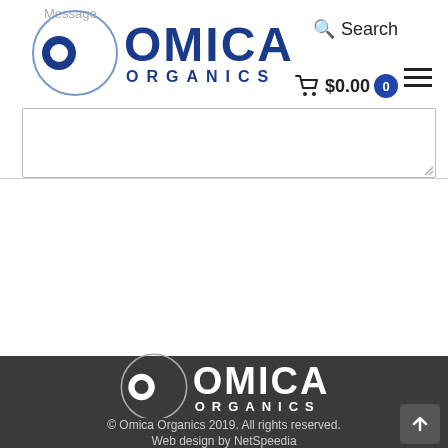[Figure (screenshot): Omica Organics website header with logo, search icon, cart showing $0.00 with badge 0, and hamburger menu icon]
[Figure (screenshot): Message textarea and Submit button on dark background, with a popup bar and checkmark icon]
[Figure (logo): Omica Organics white logo on dark gray footer background]
© Omica Organics 2019. All rights reserved. Web design by NetSpeedia